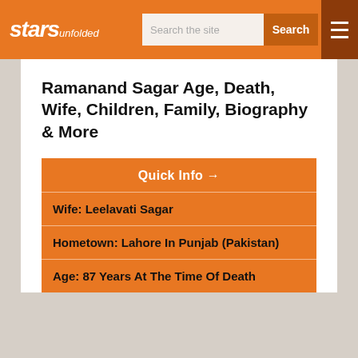starsunfolded | Search the site | Search
Ramanand Sagar Age, Death, Wife, Children, Family, Biography & More
| Quick Info → |
| --- |
| Wife: Leelavati Sagar |
| Hometown: Lahore In Punjab (Pakistan) |
| Age: 87 Years At The Time Of Death |